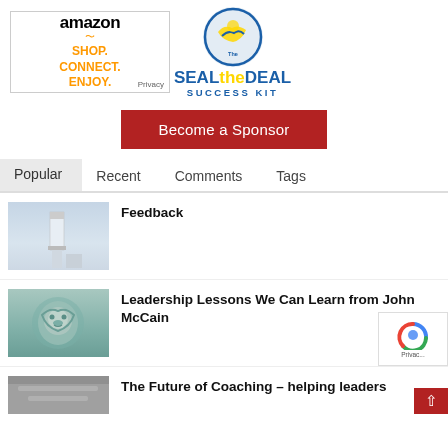[Figure (logo): Amazon ad with 'SHOP. CONNECT. ENJOY.' text and Privacy label]
[Figure (logo): Seal the Deal Success Kit logo with handshake icon]
Become a Sponsor
Popular   Recent   Comments   Tags
[Figure (photo): Thumbnail photo of a lighthouse in foggy/hazy conditions]
Feedback
[Figure (photo): Thumbnail photo of a stone lion face sculpture]
Leadership Lessons We Can Learn from John McCain
[Figure (photo): Thumbnail photo, partially visible at bottom]
The Future of Coaching – helping leaders